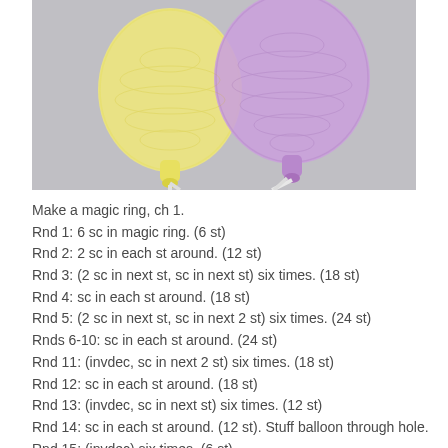[Figure (photo): Two crocheted balloons on sticks — one yellow (left) and one purple (right) — photographed against a light gray background.]
Make a magic ring, ch 1.
Rnd 1: 6 sc in magic ring. (6 st)
Rnd 2: 2 sc in each st around. (12 st)
Rnd 3: (2 sc in next st, sc in next st) six times. (18 st)
Rnd 4: sc in each st around. (18 st)
Rnd 5: (2 sc in next st, sc in next 2 st) six times. (24 st)
Rnds 6-10: sc in each st around. (24 st)
Rnd 11: (invdec, sc in next 2 st) six times. (18 st)
Rnd 12: sc in each st around. (18 st)
Rnd 13: (invdec, sc in next st) six times. (12 st)
Rnd 14: sc in each st around. (12 st). Stuff balloon through hole.
Rnd 15: (invdec) six times. (6 st)
Rnd 16: sc in each st around. (6 st).